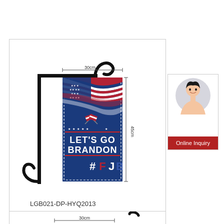[Figure (photo): Product image: garden flag on a black metal stand displaying 'LET'S GO BRANDON #FJB' with American flag design on blue background. Dimension annotations show 30cm width and 45cm height.]
LGB021-DP-HYQ2013
[Figure (photo): Online inquiry panel with a woman's portrait photo in a circle and a red 'Online Inquiry' button below.]
Online Inquiry
[Figure (photo): Partial view of a second garden flag product at the bottom of the page with 30cm dimension annotation.]